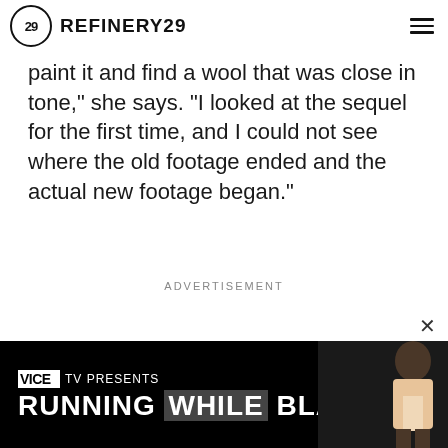REFINERY29
paint it and find a wool that was close in tone," she says. "I looked at the sequel for the first time, and I could not see where the old footage ended and the actual new footage began."
ADVERTISEMENT
[Figure (photo): VICE TV advertisement banner at bottom of page showing 'VICE TV PRESENTS RUNNING WHILE BLACK' with a person in athletic wear on the right side against a dark background]